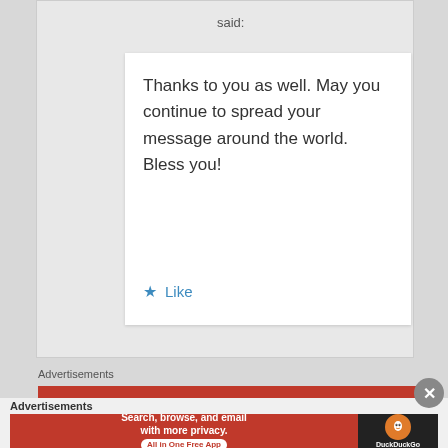said:
Thanks to you as well. May you continue to spread your message around the world. Bless you!
★ Like
Advertisements
Advertisements
[Figure (screenshot): DuckDuckGo advertisement banner: 'Search, browse, and email with more privacy. All in One Free App' with DuckDuckGo logo on dark background.]